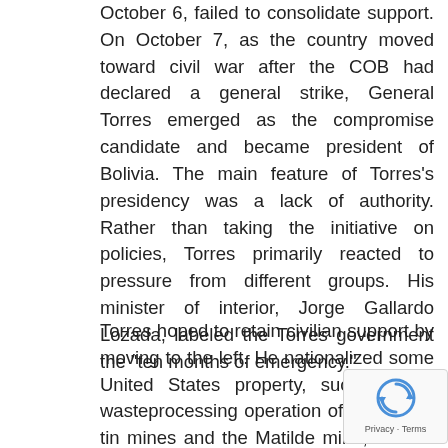October 6, failed to consolidate support. On October 7, as the country moved toward civil war after the COB had declared a general strike, General Torres emerged as the compromise candidate and became president of Bolivia. The main feature of Torres's presidency was a lack of authority. Rather than taking the initiative on policies, Torres primarily reacted to pressure from different groups. His minister of interior, Jorge Gallardo Lozada, labeled the Torres government the "ten months of emergency."
Torres hoped to retain civilian support by moving to the left. He nationalized some United States property, such as the wasteprocessing operation of the Catavi tin mines and the Matilde mine, and he ordered the Peace Corps, a United States program, out of Bolivia. While limiting